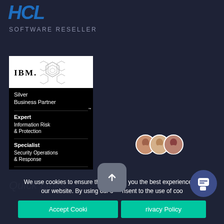[Figure (logo): HCL logo in blue italic font]
SOFTWARE RESELLER
[Figure (logo): IBM Silver Business Partner badge with hexagon logo. Expert: Information Risk & Protection. Specialist: Security Operations & Response.]
Quick Links
[Figure (screenshot): Chat popup with avatars: Got any questions? We're happy to help.]
We use cookies to ensure that we give you the best experience on our website. By using our s[ite you co]nsent to the use of coo[kies.]
Accept Cooki[es]   [P]rivacy Policy